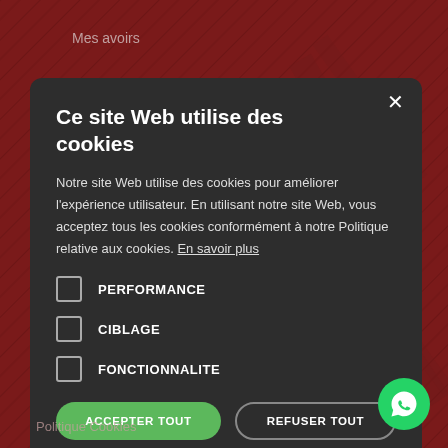Mes avoirs
Ce site Web utilise des cookies
Notre site Web utilise des cookies pour améliorer l'expérience utilisateur. En utilisant notre site Web, vous acceptez tous les cookies conformément à notre Politique relative aux cookies. En savoir plus
PERFORMANCE
CIBLAGE
FONCTIONNALITE
ACCEPTER TOUT
REFUSER TOUT
AFFICHER LES DETAILS
Politique Cookies